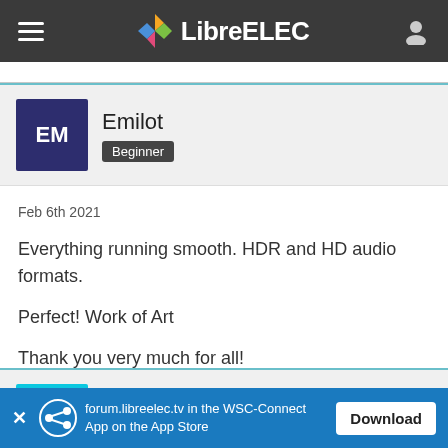LibreELEC
Emilot
Beginner
Feb 6th 2021
Everything running smooth. HDR and HD audio formats.

Perfect! Work of Art

Thank you very much for all!
rav3k
forum.libreelec.tv in the WSC-Connect App on the App Store